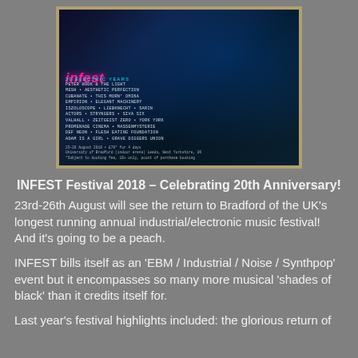[Figure (photo): INFEST 2018 festival promotional poster showing a dark cyberpunk scene with a figure in a trenchcoat and hat, listing performers including Peter Hook & The Light, Mesh, Aesthetic Perfection, Cubanate, This Morn' Omina, Empirion, Elegant Machinery, Iszoloscope, Liebknecht, Sarin, Actors, Stryngers, Siva Six, Valhall, Zeitgeist Zero, York York, Promenade Cinema, Massenmysterie, Def Neon, Flesh Eating Foundation, Adam Is A Girl, Grave Diggers Union. Dates: 23-26 August 2018, £70 for 4 days. University of Bradford.]
INFEST Festival 2018 – Celebrating 20th Anniversary!
23rd-26th August will see the return to Bradford of the UK's longest running annual industrial/electronic music festival! And it's going to be a peach.
INFEST bills itself as an 'EBM / Industrial / Noise / Synthpop' event but it encompasses so many more musical 'shades of black' than it credits itself for.
Last year's festival highlights included: the glorious return of